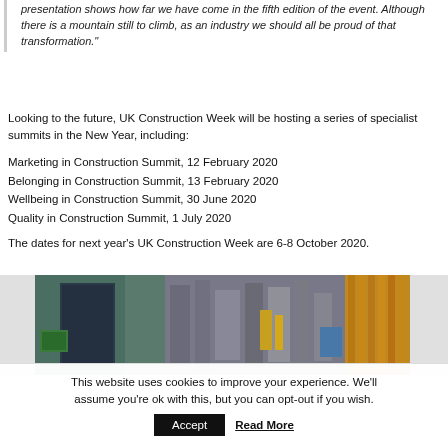presentation shows how far we have come in the fifth edition of the event. Although there is a mountain still to climb, as an industry we should all be proud of that transformation."
Looking to the future, UK Construction Week will be hosting a series of specialist summits in the New Year, including:
Marketing in Construction Summit, 12 February 2020
Belonging in Construction Summit, 13 February 2020
Wellbeing in Construction Summit, 30 June 2020
Quality in Construction Summit, 1 July 2020
The dates for next year's UK Construction Week are 6-8 October 2020.
[Figure (photo): Photo of construction equipment and industrial machinery at UK Construction Week exhibition]
This website uses cookies to improve your experience. We'll assume you're ok with this, but you can opt-out if you wish. [Accept] [Read More]